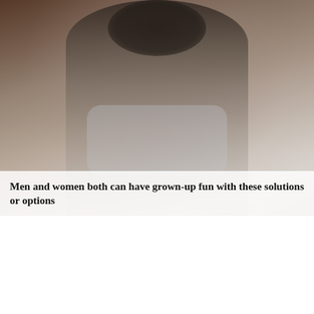[Figure (photo): A woman with dark curly hair wearing a grey zip-up hoodie and light jeans, seated pose, photographed against a dark brownish background]
Men and women both can have grown-up fun with these solutions or options
[Figure (photo): A blonde woman in a dark top, looking toward the camera in a low-lit setting]